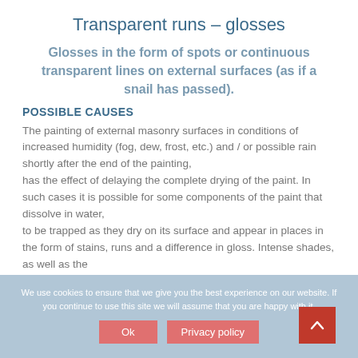Transparent runs – glosses
Glosses in the form of spots or continuous transparent lines on external surfaces (as if a snail has passed).
POSSIBLE CAUSES
The painting of external masonry surfaces in conditions of increased humidity (fog, dew, frost, etc.) and / or possible rain shortly after the end of the painting,
has the effect of delaying the complete drying of the paint. In such cases it is possible for some components of the paint that dissolve in water, to be trapped as they dry on its surface and appear in places in the form of stains, runs and a difference in gloss. Intense shades, as well as the